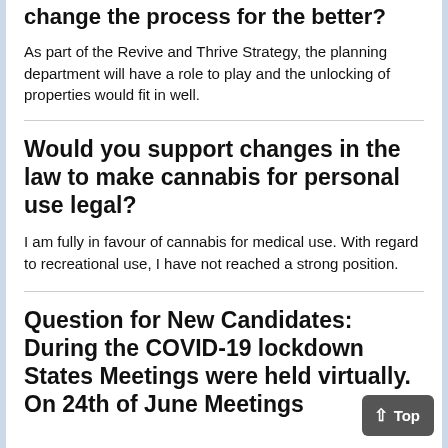change the process for the better?
As part of the Revive and Thrive Strategy, the planning department will have a role to play and the unlocking of properties would fit in well.
Would you support changes in the law to make cannabis for personal use legal?
I am fully in favour of cannabis for medical use. With regard to recreational use, I have not reached a strong position.
Question for New Candidates: During the COVID-19 lockdown States Meetings were held virtually. On 24th of June Meetings